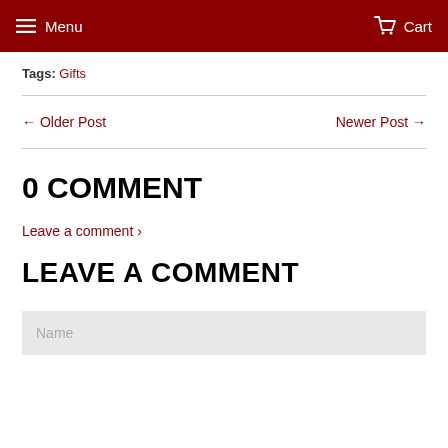Menu  Cart
Tags: Gifts
← Older Post   Newer Post →
0 COMMENT
Leave a comment ›
LEAVE A COMMENT
Name